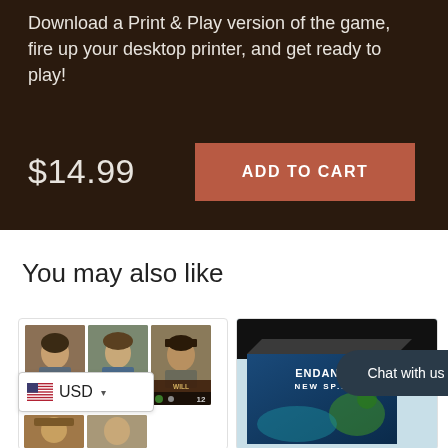Download a Print & Play version of the game, fire up your desktop printer, and get ready to play!
$14.99
ADD TO CART
You may also like
[Figure (photo): Product card showing character cards Katie, Sara, and Will for a game]
[Figure (photo): Product box for Endangered New Species board game with lizard artwork]
Chat with us
USD